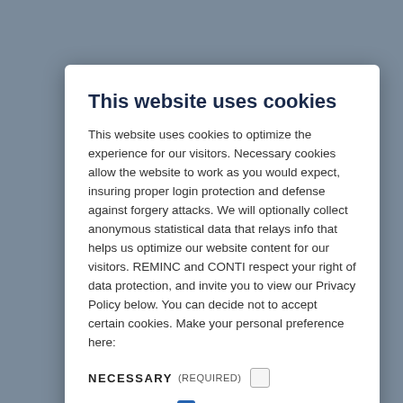This website uses cookies
This website uses cookies to optimize the experience for our visitors. Necessary cookies allow the website to work as you would expect, insuring proper login protection and defense against forgery attacks. We will optionally collect anonymous statistical data that relays info that helps us optimize our website content for our visitors. REMINC and CONTI respect your right of data protection, and invite you to view our Privacy Policy below. You can decide not to accept certain cookies. Make your personal preference here:
NECESSARY (REQUIRED) [checkbox unchecked]
STATISTICS [checkbox checked]
DETAILS | OK